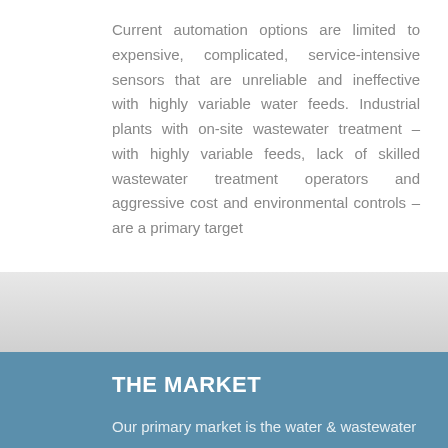Current automation options are limited to expensive, complicated, service-intensive sensors that are unreliable and ineffective with highly variable water feeds. Industrial plants with on-site wastewater treatment – with highly variable feeds, lack of skilled wastewater treatment operators and aggressive cost and environmental controls – are a primary target
THE MARKET
Our primary market is the water & wastewater